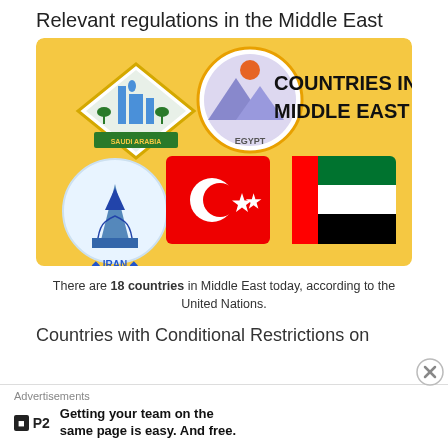Relevant regulations in the Middle East
[Figure (infographic): Infographic on yellow background showing icons/badges for Saudi Arabia, Egypt, Iran, Turkey (flag), and UAE (flag) with title 'COUNTRIES IN MIDDLE EAST']
There are 18 countries in Middle East today, according to the United Nations.
Countries with Conditional Restrictions on
Advertisements
Getting your team on the same page is easy. And free.